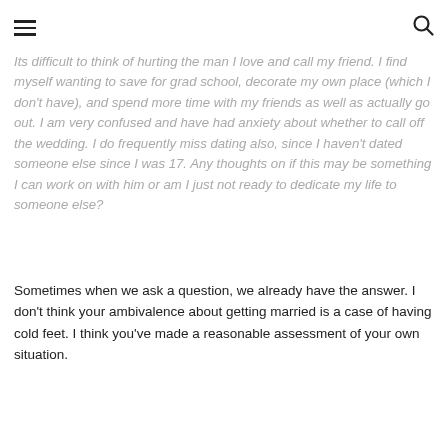[hamburger menu] [search icon]
Its difficult to think of hurting the man I love and call my friend. I find myself wanting to save for grad school, decorate my own place (which I don't have), and spend more time with my friends as well as actually go out. I am very confused and have had anxiety about whether to call off the wedding. I do frequently miss dating also, since I haven't dated someone else since I was 17. Any thoughts on if this may be something I can work on with him or am I just not ready to dedicate my life to someone else?
Sometimes when we ask a question, we already have the answer. I don't think your ambivalence about getting married is a case of having cold feet. I think you've made a reasonable assessment of your own situation.